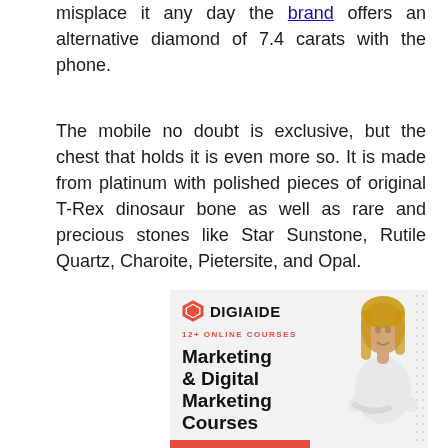misplace it any day the brand offers an alternative diamond of 7.4 carats with the phone.
The mobile no doubt is exclusive, but the chest that holds it is even more so. It is made from platinum with polished pieces of original T-Rex dinosaur bone as well as rare and precious stones like Star Sunstone, Rutile Quartz, Charoite, Pietersite, and Opal.
[Figure (other): DigiAide advertisement banner showing logo, '12+ ONLINE COURSES' subtitle, 'Marketing & Digital Marketing Courses' headline in bold, a woman with crossed arms, and a red bar at the bottom.]